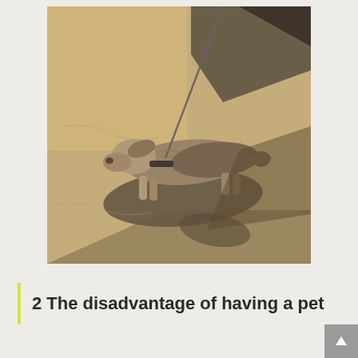[Figure (photo): A small long-haired dachshund dog on a leash, walking on sandy/concrete ground in sunlight, casting a shadow. Photo taken from above.]
2 The disadvantage of having a pet